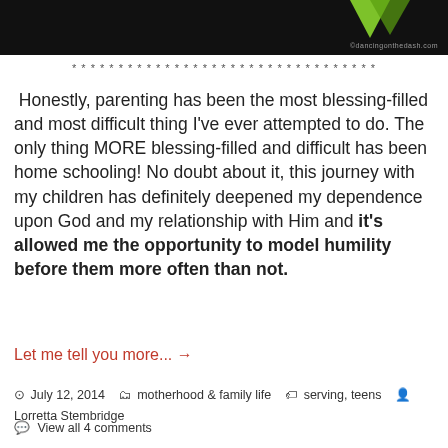[Figure (photo): Dark/black background photo strip with a green triangle/arrow shape visible at top right, and watermark text 'odancingonthedash.com' at bottom right]
* * * * * * * * * * * * * * * * * * * * * * * * * * * * * * * * * *
Honestly, parenting has been the most blessing-filled and most difficult thing I've ever attempted to do. The only thing MORE blessing-filled and difficult has been home schooling! No doubt about it, this journey with my children has definitely deepened my dependence upon God and my relationship with Him and it's allowed me the opportunity to model humility before them more often than not.
Let me tell you more... →
July 12, 2014   motherhood & family life   serving, teens   Lorretta Stembridge
View all 4 comments